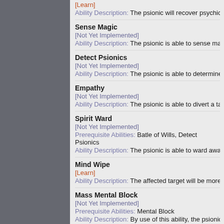[Learn]
Ability Description: The psionic will recover psychic power mo...
Sense Magic
[Not Yet Implemented]
Ability Description: The psionic is able to sense magic proper...
Detect Psionics
[Not Yet Implemented]
Ability Description: The psionic is able to determine if someon...
Empathy
[Not Yet Implemented]
Ability Description: The psionic is able to divert a target, maki...
Spirit Ward
[Not Yet Implemented]
Prerequisite Abilities: Batle of Wills, Detect Psionics
Ability Description: The psionic is able to ward away spirit ent...
Mind Wipe
[Learn]
Ability Description: The affected target will be more susceptibl...
Mass Mental Block
[Not Yet Implemented]
Prerequisite Abilities: Mental Block
Ability Description: By use of this ability, the psionic and his o...
Sense Traps
[Not Yet Implemented]
Prerequisite Abilities: Object Reading...